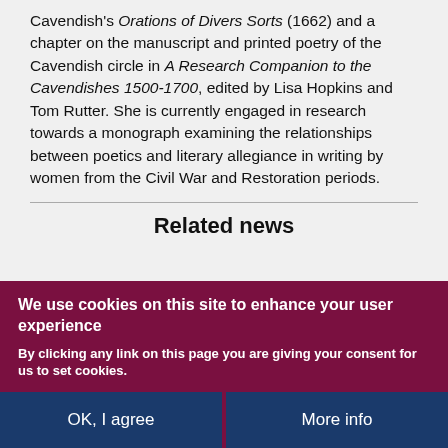Cavendish's Orations of Divers Sorts (1662) and a chapter on the manuscript and printed poetry of the Cavendish circle in A Research Companion to the Cavendishes 1500-1700, edited by Lisa Hopkins and Tom Rutter. She is currently engaged in research towards a monograph examining the relationships between poetics and literary allegiance in writing by women from the Civil War and Restoration periods.
Related news
We use cookies on this site to enhance your user experience
By clicking any link on this page you are giving your consent for us to set cookies.